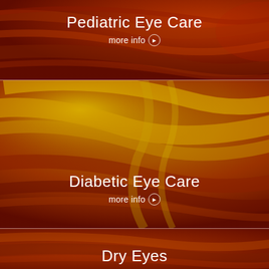[Figure (photo): Red-toned brushstroke texture background panel for Pediatric Eye Care section]
Pediatric Eye Care
more info ❯
[Figure (photo): Red and golden yellow brushstroke texture background panel for Diabetic Eye Care section]
Diabetic Eye Care
more info ❯
[Figure (photo): Red-toned brushstroke texture background panel for Dry Eyes section]
Dry Eyes